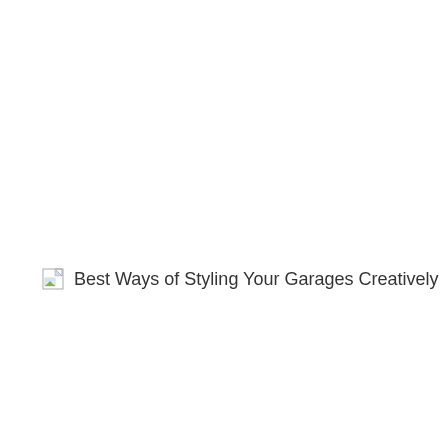[Figure (illustration): Broken/missing image icon (small document with green/blue corner) followed by alt text: Best Ways of Styling Your Garages Creatively]